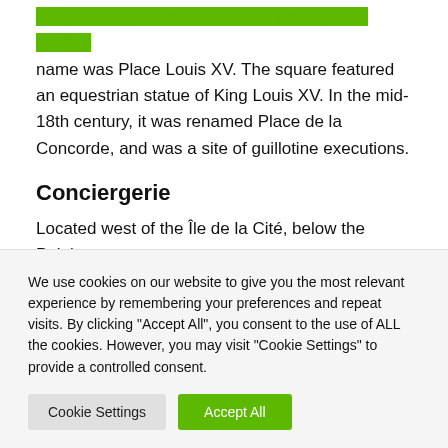Jacques-Ange Gabriel in 1757, although the original name was Place Louis XV. The square featured an equestrian statue of King Louis XV. In the mid-18th century, it was renamed Place de la Concorde, and was a site of guillotine executions.
Conciergerie
Located west of the Île de la Cité, below the Palais de Justice, the Conciergerie forms part of the...
We use cookies on our website to give you the most relevant experience by remembering your preferences and repeat visits. By clicking "Accept All", you consent to the use of ALL the cookies. However, you may visit "Cookie Settings" to provide a controlled consent.